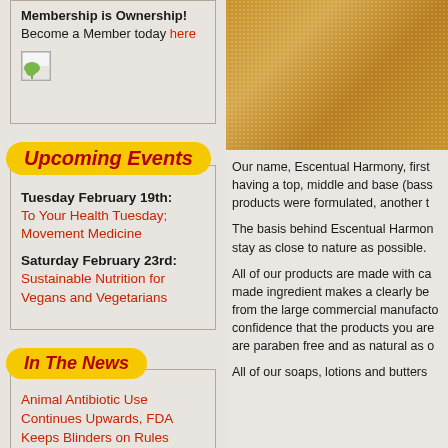Membership is Ownership! Become a Member today here
[Figure (illustration): Small image icon with green leaf element]
Upcoming Events
Tuesday February 19th:
To Your Health Tuesday; Movement Medicine
Saturday February 23rd:
Sustainable Nutrition for Vegans and Vegetarians
In The News
Animal Antibiotic Use Continues Upwards, FDA Keeps Blinders on Rules
[Figure (photo): Close-up texture photo of golden/tan woven or sandy material]
Our name, Escentual Harmony, first having a top, middle and base (bass products were formulated, another t
The basis behind Escentual Harmon stay as close to nature as possible.
All of our products are made with ca made ingredient makes a clearly be from the large commercial manufacto confidence that the products you are are paraben free and as natural as o
All of our soaps, lotions and butters